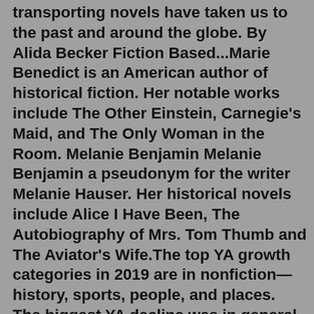transporting novels have taken us to the past and around the globe. By Alida Becker Fiction Based...Marie Benedict is an American author of historical fiction. Her notable works include The Other Einstein, Carnegie's Maid, and The Only Woman in the Room. Melanie Benjamin Melanie Benjamin a pseudonym for the writer Melanie Hauser. Her historical novels include Alice I Have Been, The Autobiography of Mrs. Tom Thumb and The Aviator's Wife.The top YA growth categories in 2019 are in nonfiction—history, sports, people, and places. The biggest YA decline was in general fiction, but the top fiction category is now science fiction / magic—a rebound after a significant decline for that category in 2017. As a whole, the YA category is marginally positive.Malibu Rising. by. Taylor Jenkins Reid (Goodreads Author) It's August 1983, and the Riva clan's legendary end-of-summer party in Malibu is quickly going off the rails. Taylor Jenkins Reid's jagged ode to the 1980s explores the combustible